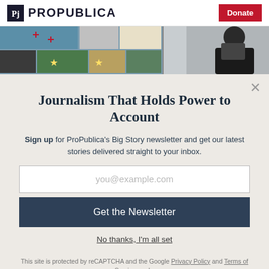ProPublica | Donate
[Figure (photo): Hero image showing a collage of news story thumbnails including maps and a person with a tablet]
Journalism That Holds Power to Account
Sign up for ProPublica's Big Story newsletter and get our latest stories delivered straight to your inbox.
you@example.com
Get the Newsletter
No thanks, I'm all set
This site is protected by reCAPTCHA and the Google Privacy Policy and Terms of Service apply.